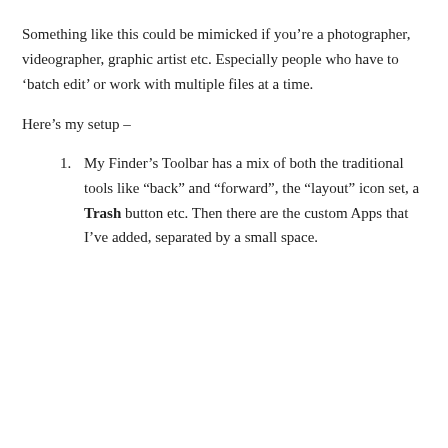Something like this could be mimicked if you’re a photographer, videographer, graphic artist etc. Especially people who have to ‘batch edit’ or work with multiple files at a time.
Here’s my setup –
My Finder’s Toolbar has a mix of both the traditional tools like “back” and “forward”, the “layout” icon set, a Trash button etc. Then there are the custom Apps that I’ve added, separated by a small space.